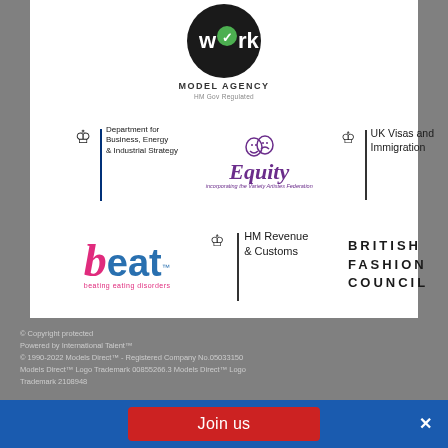[Figure (logo): Work Model Agency - HM Gov Regulated logo. Black circle with 'work' text and green checkmark, with 'MODEL AGENCY' and 'HM Gov Regulated' text below.]
[Figure (logo): Department for Business, Energy & Industrial Strategy logo with crown and blue bar.]
[Figure (logo): Equity logo in purple with theatre masks, incorporating the Variety Artistes Federation.]
[Figure (logo): UK Visas and Immigration logo with crown and vertical bar.]
[Figure (logo): Beat - beating eating disorders logo with pink b and blue eat text.]
[Figure (logo): HM Revenue & Customs logo with crown and vertical bar.]
[Figure (logo): British Fashion Council logo in bold spaced uppercase letters.]
© Copyright protected
Powered by International Talent™
© 1990-2022 Models Direct™ - Registered Company No.05033150
Models Direct™ Logo Trademark 00855266.3 Models Direct™ Logo Trademark 2108948
Join us